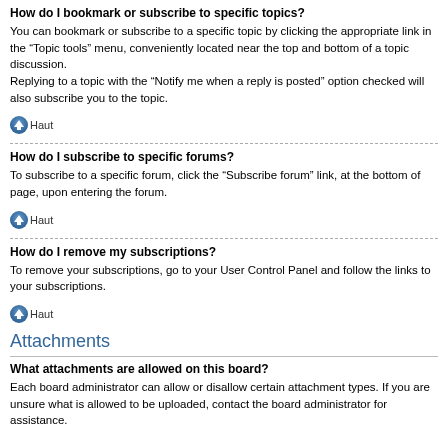How do I bookmark or subscribe to specific topics?
You can bookmark or subscribe to a specific topic by clicking the appropriate link in the “Topic tools” menu, conveniently located near the top and bottom of a topic discussion.
Replying to a topic with the “Notify me when a reply is posted” option checked will also subscribe you to the topic.
[Figure (other): Haut (back to top) button with arrow icon]
How do I subscribe to specific forums?
To subscribe to a specific forum, click the “Subscribe forum” link, at the bottom of page, upon entering the forum.
[Figure (other): Haut (back to top) button with arrow icon]
How do I remove my subscriptions?
To remove your subscriptions, go to your User Control Panel and follow the links to your subscriptions.
[Figure (other): Haut (back to top) button with arrow icon]
Attachments
What attachments are allowed on this board?
Each board administrator can allow or disallow certain attachment types. If you are unsure what is allowed to be uploaded, contact the board administrator for assistance.